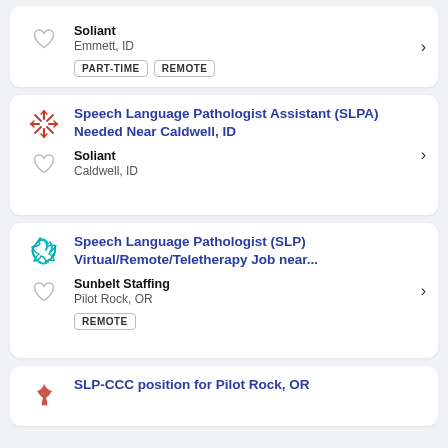Soliant — Emmett, ID — PART-TIME, REMOTE
Speech Language Pathologist Assistant (SLPA) Needed Near Caldwell, ID — Soliant — Caldwell, ID
Speech Language Pathologist (SLP) Virtual/Remote/Teletherapy Job near... — Sunbelt Staffing — Pilot Rock, OR — REMOTE
SLP-CCC position for Pilot Rock, OR